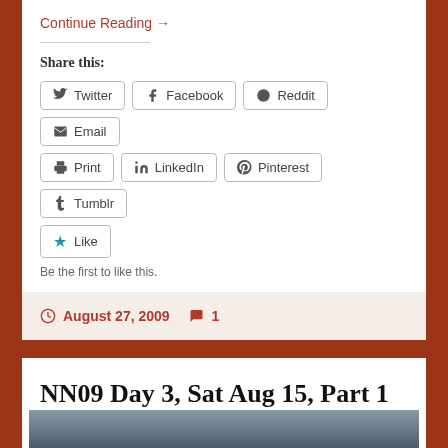Continue Reading →
Share this:
Twitter Facebook Reddit Email Print LinkedIn Pinterest Tumblr
Like
Be the first to like this.
August 27, 2009  1
NN09 Day 3, Sat Aug 15, Part 1